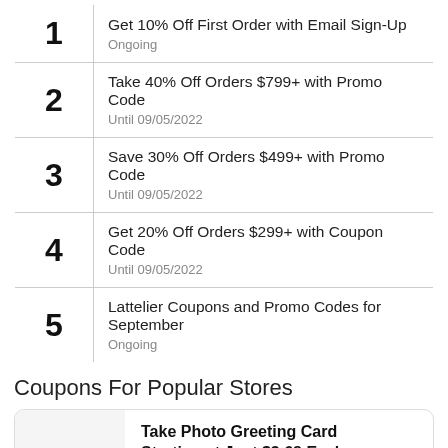| # | Deal |
| --- | --- |
| 1 | Get 10% Off First Order with Email Sign-Up
Ongoing |
| 2 | Take 40% Off Orders $799+ with Promo Code
Until 09/05/2022 |
| 3 | Save 30% Off Orders $499+ with Promo Code
Until 09/05/2022 |
| 4 | Get 20% Off Orders $299+ with Coupon Code
Until 09/05/2022 |
| 5 | Lattelier Coupons and Promo Codes for September
Ongoing |
Coupons For Popular Stores
Take Photo Greeting Card Starting at Just $3.68 Each
Coupon Verified!